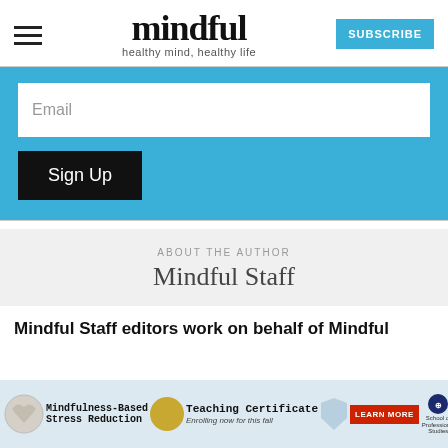mindful — healthy mind, healthy life — SUBSCRIBE
Email
Sign Up
ABOUT THE AUTHOR
Mindful Staff
Mindful Staff editors work on behalf of Mindful
[Figure (screenshot): Advertisement banner for Mindfulness-Based Stress Reduction Teaching Certificate program with 'Enrolling now for this fall' and Learn More button, School of Professional Studies logo, and close button X]